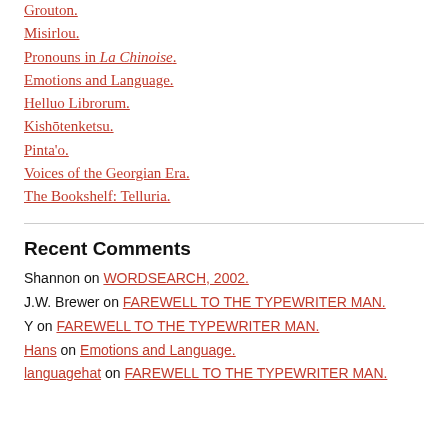Grouton.
Misirlou.
Pronouns in La Chinoise.
Emotions and Language.
Helluo Librorum.
Kishōtenketsu.
Pinta'o.
Voices of the Georgian Era.
The Bookshelf: Telluria.
Recent Comments
Shannon on WORDSEARCH, 2002.
J.W. Brewer on FAREWELL TO THE TYPEWRITER MAN.
Y on FAREWELL TO THE TYPEWRITER MAN.
Hans on Emotions and Language.
languagehat on FAREWELL TO THE TYPEWRITER MAN.